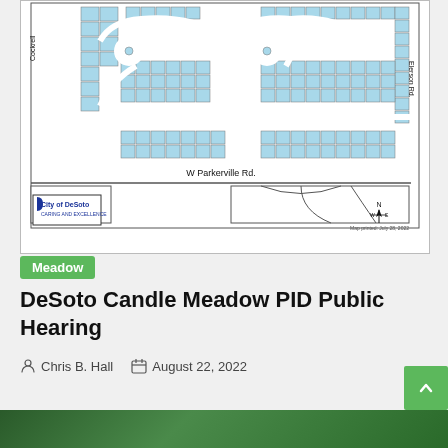[Figure (map): City of DeSoto zoning/subdivision map showing Candle Meadow PID area. Blue shaded lots along streets including Cockrell, Elerson Rd., and W Parkerville Rd. Includes City of DeSoto logo and north arrow compass. Map printed: July 28, 2022.]
Meadow
DeSoto Candle Meadow PID Public Hearing
Chris B. Hall  August 22, 2022
[Figure (photo): Partial bottom image showing green vegetation/grass]